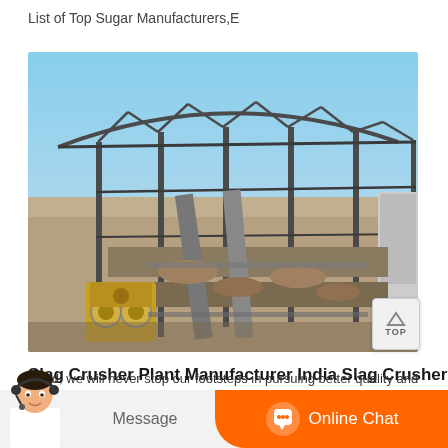List of Top Sugar Manufacturers,E
[Figure (photo): Industrial slag crusher plant with metal framework/truss structure overhead, conveyor belts, and heavy machinery including a jaw crusher on the left. Construction site with exposed aggregate/rock on the ground.]
Slag Crusher Plant Manufacturer India Slag Crusher
world, we will never stop our footsteps in pursuing better quality and